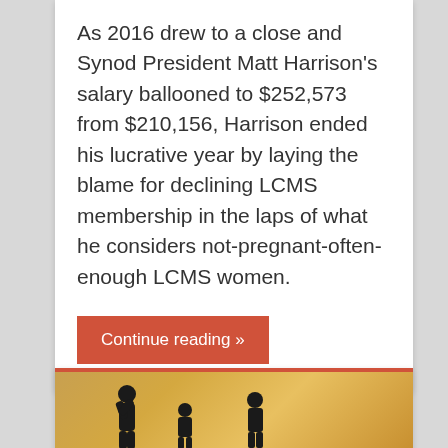As 2016 drew to a close and Synod President Matt Harrison's salary ballooned to $252,573 from $210,156, Harrison ended his lucrative year by laying the blame for declining LCMS membership in the laps of what he considers not-pregnant-often-enough LCMS women.
Continue reading »
[Figure (photo): Silhouette of people against a warm golden/orange sunset background]